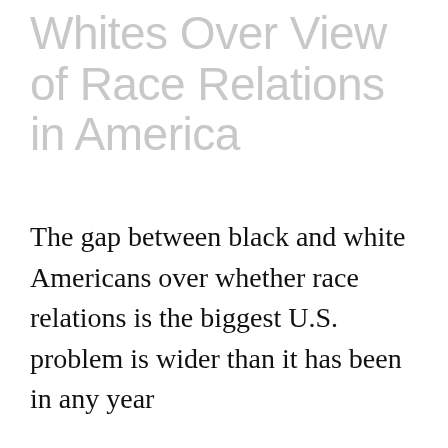Whites Over View of Race Relations in America
The gap between black and white Americans over whether race relations is the biggest U.S. problem is wider than it has been in any year